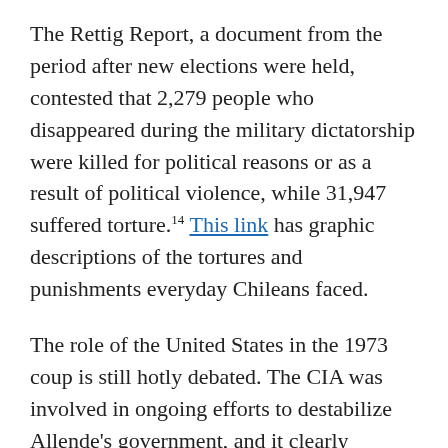The Rettig Report, a document from the period after new elections were held, contested that 2,279 people who disappeared during the military dictatorship were killed for political reasons or as a result of political violence, while 31,947 suffered torture.14 This link has graphic descriptions of the tortures and punishments everyday Chileans faced.
The role of the United States in the 1973 coup is still hotly debated. The CIA was involved in ongoing efforts to destabilize Allende's government, and it clearly supported Pinochet's rule after the overthrow of Allende. The U.S. government had even created its own plans for a coup, although it was unable to implement those plans before the Chilean military acted.15 Pinochet ushered Chile towards a leadership role in